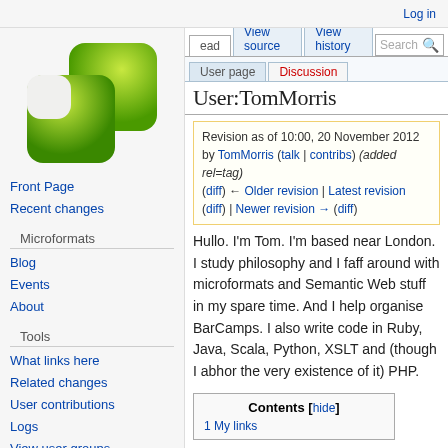Log in
[Figure (logo): Microformats wiki green logo — two overlapping rounded squares in gradient green]
Front Page
Recent changes
Microformats
Blog
Events
About
Tools
What links here
Related changes
User contributions
Logs
View user groups
User:TomMorris
Revision as of 10:00, 20 November 2012 by TomMorris (talk | contribs) (added rel=tag)
(diff) ← Older revision | Latest revision (diff) | Newer revision → (diff)
Hullo. I'm Tom. I'm based near London. I study philosophy and I faff around with microformats and Semantic Web stuff in my spare time. And I help organise BarCamps. I also write code in Ruby, Java, Scala, Python, XSLT and (though I abhor the very existence of it) PHP.
Contents [hide]
1 My links